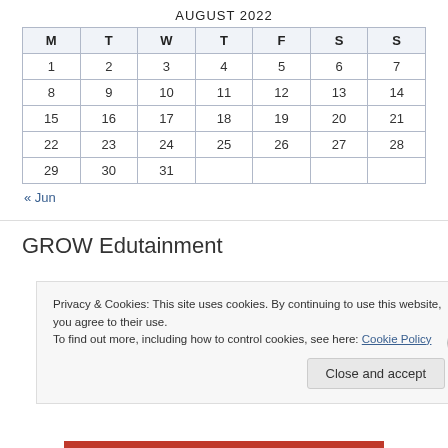AUGUST 2022
| M | T | W | T | F | S | S |
| --- | --- | --- | --- | --- | --- | --- |
| 1 | 2 | 3 | 4 | 5 | 6 | 7 |
| 8 | 9 | 10 | 11 | 12 | 13 | 14 |
| 15 | 16 | 17 | 18 | 19 | 20 | 21 |
| 22 | 23 | 24 | 25 | 26 | 27 | 28 |
| 29 | 30 | 31 |  |  |  |  |
« Jun
GROW Edutainment
Privacy & Cookies: This site uses cookies. By continuing to use this website, you agree to their use.
To find out more, including how to control cookies, see here: Cookie Policy
Close and accept